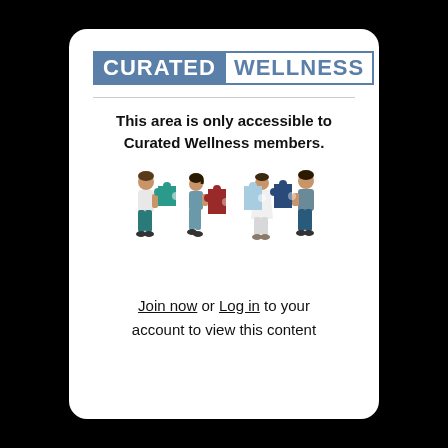[Figure (logo): Curated Wellness logo: CURATED in white text on blue background box, WELLNESS in blue text with blue border box]
This area is only accessible to Curated Wellness members.
[Figure (illustration): Four cartoon people each holding colorful puzzle pieces (teal, dark red, light blue, dark blue), assembled left to right]
Join now or Log in to your account to view this content